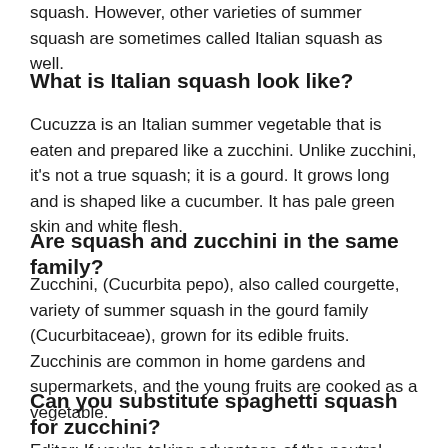squash.  However, other varieties of summer squash are sometimes called Italian squash as well.
What is Italian squash look like?
Cucuzza is an Italian summer vegetable that is eaten and prepared like a zucchini. Unlike zucchini, it's not a true squash; it is a gourd. It grows long and is shaped like a cucumber. It has pale green skin and white flesh.
Are squash and zucchini in the same family?
Zucchini, (Cucurbita pepo), also called courgette, variety of summer squash in the gourd family (Cucurbitaceae), grown for its edible fruits. Zucchinis are common in home gardens and supermarkets, and the young fruits are cooked as a vegetable.
Can you substitute spaghetti squash for zucchini?
Editor: If you're taking advantage of the neutral flavor of